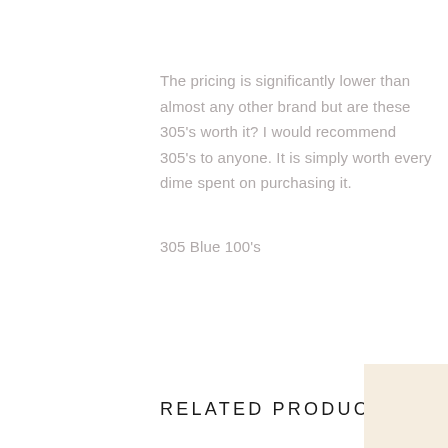The pricing is significantly lower than almost any other brand but are these 305's worth it? I would recommend 305's to anyone. It is simply worth every dime spent on purchasing it.
305 Blue 100's
RELATED PRODUCTS